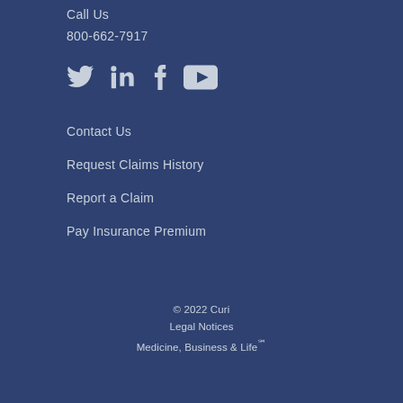Call Us
800-662-7917
[Figure (other): Social media icons: Twitter, LinkedIn, Facebook, YouTube]
Contact Us
Request Claims History
Report a Claim
Pay Insurance Premium
© 2022 Curi
Legal Notices
Medicine, Business & Life℠